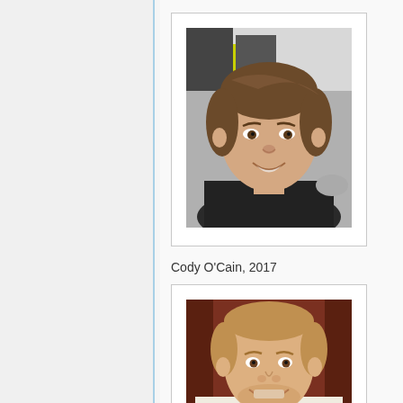[Figure (photo): Portrait photo of a young man with brown hair, smiling, in an office/studio setting with a sign visible in background]
Cody O'Cain, 2017
[Figure (photo): Portrait photo of a young man with short light brown hair, smiling, wearing a light-colored shirt, in front of a dark red/brown background]